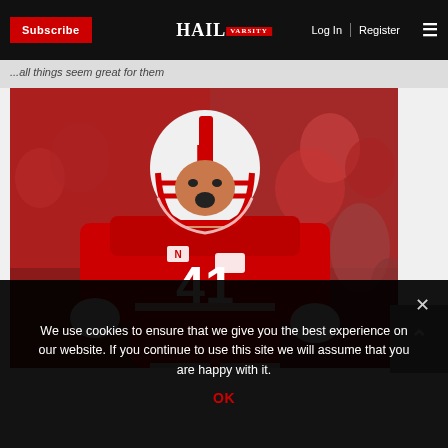Subscribe | HAIL VARSITY | Log In | Register
...headline text partially visible...
[Figure (photo): Nebraska Cornhuskers football player #41 in red jersey and white helmet with red facemask, celebrating or yelling, with crowd in background]
We use cookies to ensure that we give you the best experience on our website. If you continue to use this site we will assume that you are happy with it.
OK